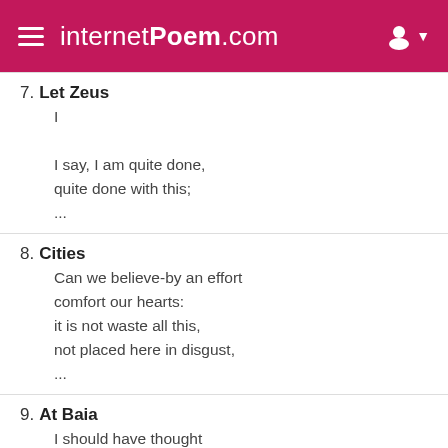internetPoem.com
7. Let Zeus
I

I say, I am quite done,
quite done with this;
...
8. Cities
Can we believe-by an effort
comfort our hearts:
it is not waste all this,
not placed here in disgust,
...
9. At Baia
I should have thought
in a dream you would have brought
some lovely, perilous thing,
orchids piled in a great sheath,